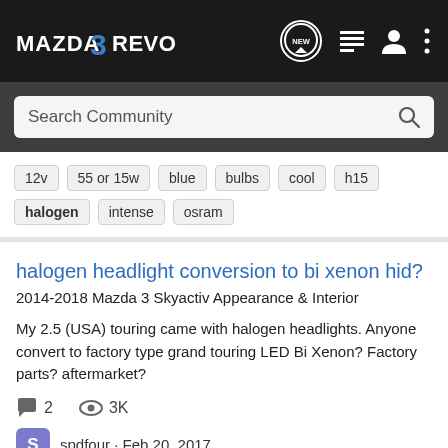MAZDA 3 REVOLUTION
Search Community
12v  55 or 15w  blue  bulbs  cool  h15  halogen  intense  osram
halogen headlight conversion to bi xenon hid?
2014-2018 Mazda 3 Skyactiv Appearance & Interior
My 2.5 (USA) touring came with halogen headlights. Anyone convert to factory type grand touring LED Bi Xenon? Factory parts? aftermarket?
2  3K
spdfour · Feb 20, 2017
conversion  halogen  headlight  hid  xenon